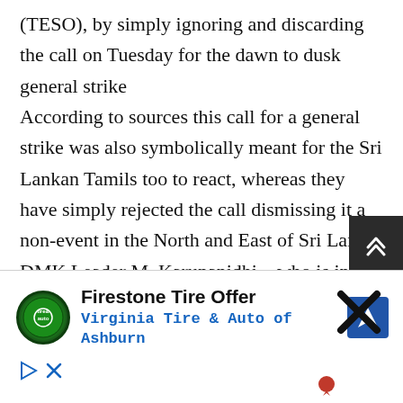(TESO), by simply ignoring and discarding the call on Tuesday for the dawn to dusk general strike According to sources this call for a general strike was also symbolically meant for the Sri Lankan Tamils too to react, whereas they have simply rejected the call dismissing it a non-event in the North and East of Sri Lanka. DMK Leader M. Karunanidhi – who is in his twilight of political career, and the DMK-backed group the Tamil Eelam Supporter's Organization (TESO), called for a general strike on Tuesday, 12th March against Sri
[Figure (other): Advertisement banner: Firestone Tire Offer - Virginia Tire & Auto of Ashburn, with Firestone logo and navigation arrow icon]